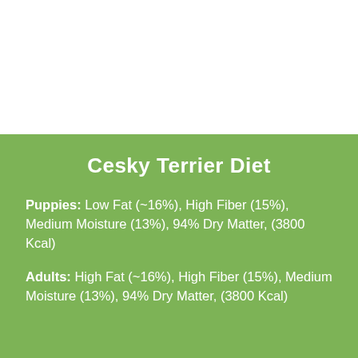Cesky Terrier Diet
Puppies: Low Fat (~16%), High Fiber (15%), Medium Moisture (13%), 94% Dry Matter, (3800 Kcal)
Adults: High Fat (~16%), High Fiber (15%), Medium Moisture (13%), 94% Dry Matter, (3800 Kcal)